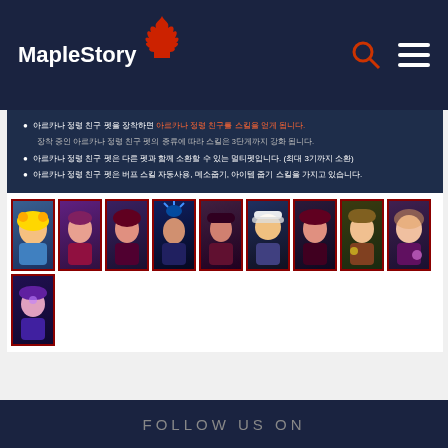MapleStory
아르카나 정령 친구 펫을 장착하면 아르카나 정령 친구를 스킬을 얻게 됩니다.
장착 중인 아르카나 정령 친구 펫의 종류에 따라 스킬은 3단계까지 강화 됩니다.
아르카나 정령 친구 펫은 다른 펫과 함께 소환할 수 있는 멀티펫입니다. (최대 3기까지 소환)
아르카나 정령 친구 펫은 버프 스킬 자동사용, 메소줍기, 아이템 줍기 스킬을 가지고 있습니다.
[Figure (screenshot): Grid of 10 MapleStory character pet thumbnails showing various fantasy characters with dark blue backgrounds and red borders]
< 1 ... 14 15 16 17 18 19 20 ... 23 >
FOLLOW US ON